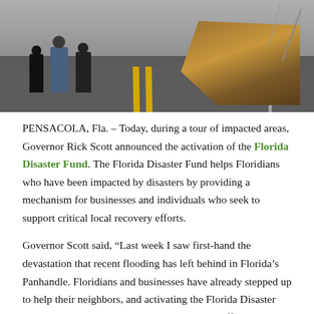[Figure (photo): Three people standing on a damaged road next to a large sinkhole or collapsed road section. The road has yellow center lines. Debris and exposed earth are visible on the right side.]
PENSACOLA, Fla. – Today, during a tour of impacted areas, Governor Rick Scott announced the activation of the Florida Disaster Fund. The Florida Disaster Fund helps Floridians who have been impacted by disasters by providing a mechanism for businesses and individuals who seek to support critical local recovery efforts.
Governor Scott said, “Last week I saw first-hand the devastation that recent flooding has left behind in Florida’s Panhandle. Floridians and businesses have already stepped up to help their neighbors, and activating the Florida Disaster Fund is the next step in the ongoing recovery efforts. Through the Florida Disaster Fund, we can leverage